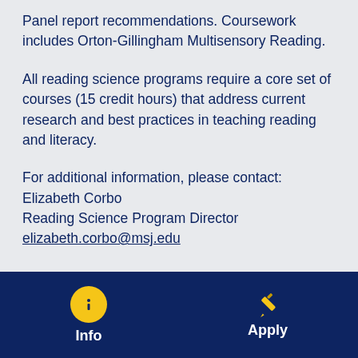Panel report recommendations. Coursework includes Orton-Gillingham Multisensory Reading.
All reading science programs require a core set of courses (15 credit hours) that address current research and best practices in teaching reading and literacy.
For additional information, please contact:
Elizabeth Corbo
Reading Science Program Director
elizabeth.corbo@msj.edu
[Figure (infographic): Dark navy footer bar with two icon-button items: Info (yellow circle with 'i' icon) and Apply (yellow pencil icon), both with white bold text labels below.]